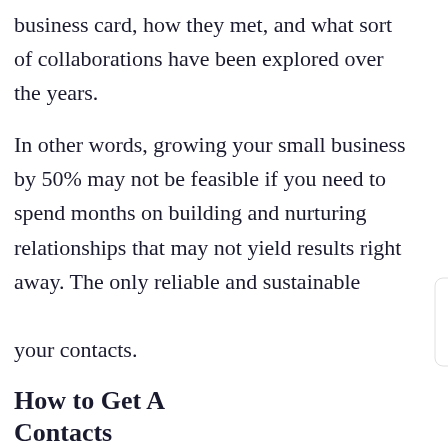business card, how they met, and what sort of collaborations have been explored over the years.
In other words, growing your small business by 50% may not be feasible if you need to spend months on building and nurturing relationships that may not yield results right away. The only reliable and sustainable [way to grow is through] your contacts.
How to Get A[ll the Right] Contacts
According to Tomoson, there are 6 main methods dominating the customer [acquisition space].
[Figure (other): Chat widget popup overlay with paper plane icon in dark navy circle, close (x) button, and text: 'Got any questions? I'm happy to help.' plus a chat bubble button in bottom right corner.]